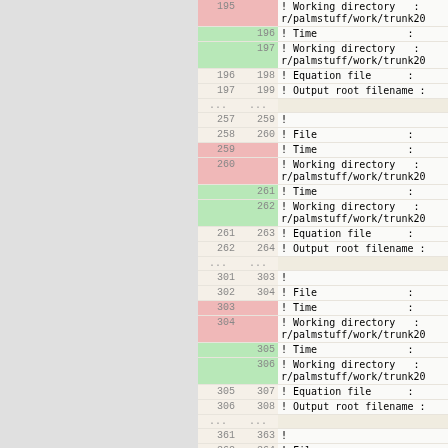| old | new | code |
| --- | --- | --- |
| 195 |  | ! Working directory   : r/palmstuff/work/trunk20 |
|  | 196 | ! Time               : |
|  | 197 | ! Working directory   : r/palmstuff/work/trunk20 |
| 196 | 198 | ! Equation file      : |
| 197 | 199 | ! Output root filename : |
| ... | ... |  |
| 257 | 259 | ! |
| 258 | 260 | ! File               : |
| 259 |  | ! Time               : |
| 260 |  | ! Working directory   : r/palmstuff/work/trunk20 |
|  | 261 | ! Time               : |
|  | 262 | ! Working directory   : r/palmstuff/work/trunk20 |
| 261 | 263 | ! Equation file      : |
| 262 | 264 | ! Output root filename : |
| ... | ... |  |
| 301 | 303 | ! |
| 302 | 304 | ! File               : |
| 303 |  | ! Time               : |
| 304 |  | ! Working directory   : r/palmstuff/work/trunk20 |
|  | 305 | ! Time               : |
|  | 306 | ! Working directory   : r/palmstuff/work/trunk20 |
| 305 | 307 | ! Equation file      : |
| 306 | 308 | ! Output root filename : |
| ... | ... |  |
| 361 | 363 | ! |
| 362 | 364 | ! File               : |